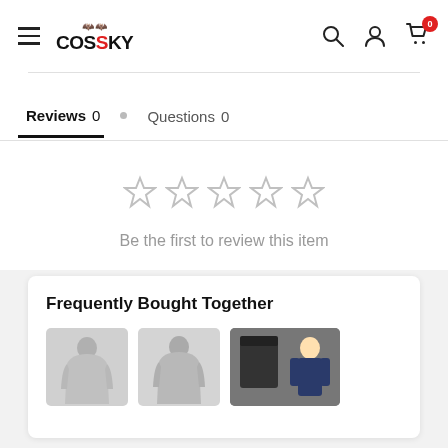COSSKY
Reviews 0  Questions 0
[Figure (other): Five grey empty star rating icons]
Be the first to review this item
Frequently Bought Together
[Figure (photo): Three product images showing cosplay costume hoodie figures and character costume]